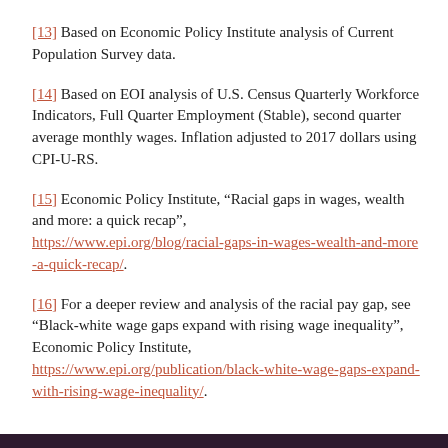[13] Based on Economic Policy Institute analysis of Current Population Survey data.
[14] Based on EOI analysis of U.S. Census Quarterly Workforce Indicators, Full Quarter Employment (Stable), second quarter average monthly wages. Inflation adjusted to 2017 dollars using CPI-U-RS.
[15] Economic Policy Institute, “Racial gaps in wages, wealth and more: a quick recap”, https://www.epi.org/blog/racial-gaps-in-wages-wealth-and-more-a-quick-recap/.
[16] For a deeper review and analysis of the racial pay gap, see “Black-white wage gaps expand with rising wage inequality”, Economic Policy Institute, https://www.epi.org/publication/black-white-wage-gaps-expand-with-rising-wage-inequality/.